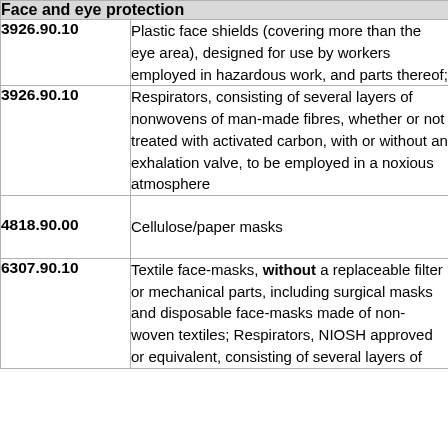| Face and eye protection |  |
| --- | --- |
| 3926.90.10 | Plastic face shields (covering more than the eye area), designed for use by workers employed in hazardous work, and parts thereof; |
| 3926.90.10 | Respirators, consisting of several layers of nonwovens of man-made fibres, whether or not treated with activated carbon, with or without an exhalation valve, to be employed in a noxious atmosphere |
| 4818.90.00 | Cellulose/paper masks |
| 6307.90.10 | Textile face-masks, without a replaceable filter or mechanical parts, including surgical masks and disposable face-masks made of non-woven textiles; Respirators, NIOSH approved or equivalent, consisting of several layers of |